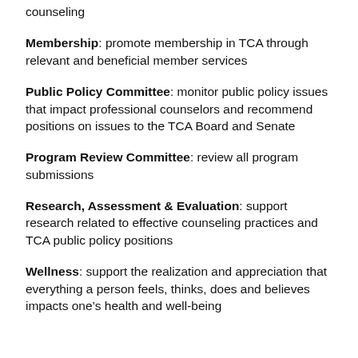counseling
Membership: promote membership in TCA through relevant and beneficial member services
Public Policy Committee: monitor public policy issues that impact professional counselors and recommend positions on issues to the TCA Board and Senate
Program Review Committee: review all program submissions
Research, Assessment & Evaluation: support research related to effective counseling practices and TCA public policy positions
Wellness: support the realization and appreciation that everything a person feels, thinks, does and believes impacts one's health and well-being